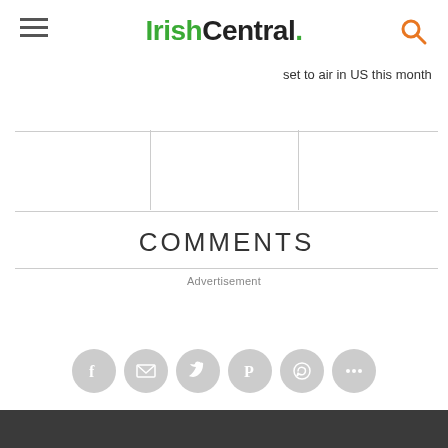IrishCentral.
set to air in US this month
COMMENTS
Advertisement